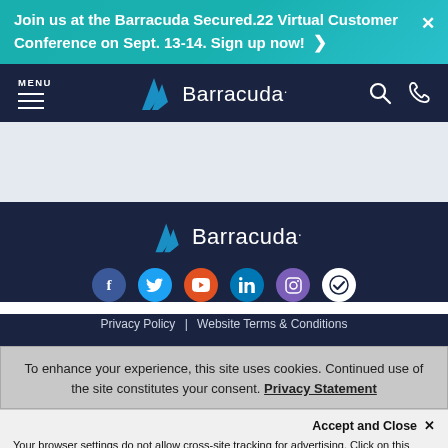Join us at the Barracuda Secured.22 Virtual Customer Conference on Sept. 13-14. Sign up now! ›
[Figure (logo): Barracuda navigation bar with MENU hamburger icon, Barracuda logo center, search and phone icons]
[Figure (logo): Barracuda footer logo with social media icons (Facebook, Twitter, YouTube, LinkedIn, Instagram, checkmark)]
Privacy Policy | Website Terms & Conditions
To enhance your experience, this site uses cookies. Continued use of the site constitutes your consent. Privacy Statement
Accept and Close ✕
Your browser settings do not allow cross-site tracking for advertising. Click on this page to allow AdRoll to use cross-site tracking to tailor ads to you. Learn more or opt out of this AdRoll tracking by clicking here. This message only appears once.